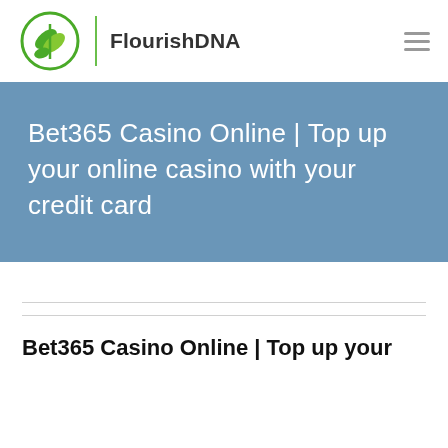FlourishDNA
Bet365 Casino Online | Top up your online casino with your credit card
Bet365 Casino Online | Top up your